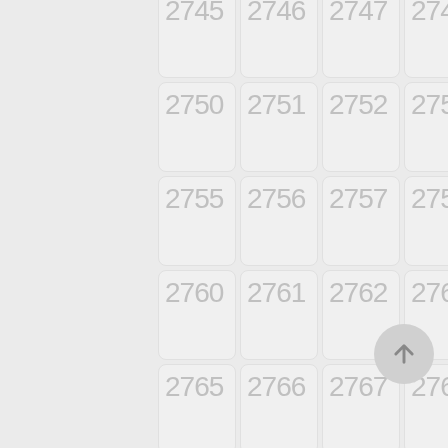[Figure (other): A grid of numbered cells from 2745 to 2799 arranged in 5 columns and 11 rows, each cell showing a grey number on a light grey rounded rectangle background. A floating action button with an upward arrow is visible at bottom right.]